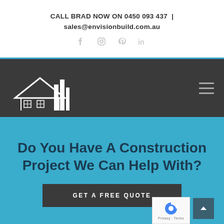CALL BRAD NOW ON 0450 093 437 | sales@envisionbuild.com.au
[Figure (logo): Envision Building Group logo with house and buildings icon on dark background navigation bar]
Do You Have A Construction Project We Can Help With?
GET A FREE QUOTE